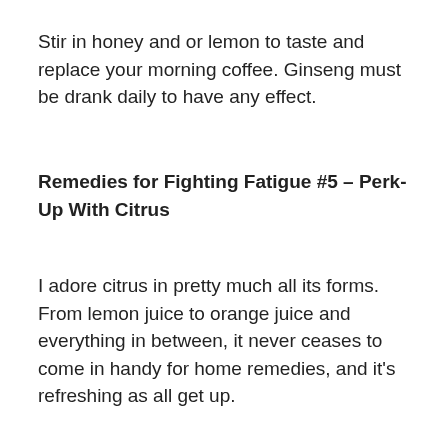Stir in honey and or lemon to taste and replace your morning coffee. Ginseng must be drank daily to have any effect.
Remedies for Fighting Fatigue #5 – Perk-Up With Citrus
I adore citrus in pretty much all its forms. From lemon juice to orange juice and everything in between, it never ceases to come in handy for home remedies, and it's refreshing as all get up.